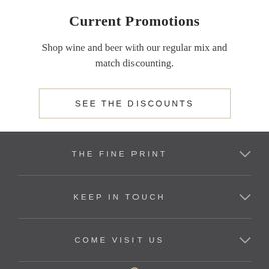Current Promotions
Shop wine and beer with our regular mix and match discounting.
SEE THE DISCOUNTS
THE FINE PRINT
KEEP IN TOUCH
COME VISIT US
[Figure (logo): Store logo partially visible at bottom, red diamond shape with THE text]